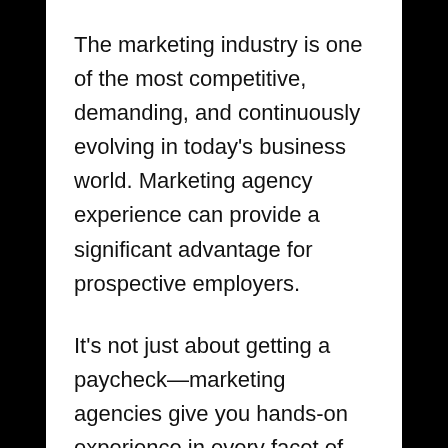The marketing industry is one of the most competitive, demanding, and continuously evolving in today's business world. Marketing agency experience can provide a significant advantage for prospective employers.
It's not just about getting a paycheck—marketing agencies give you hands-on experience in every facet of the marketing process, which is valuable to anyone looking to break into or